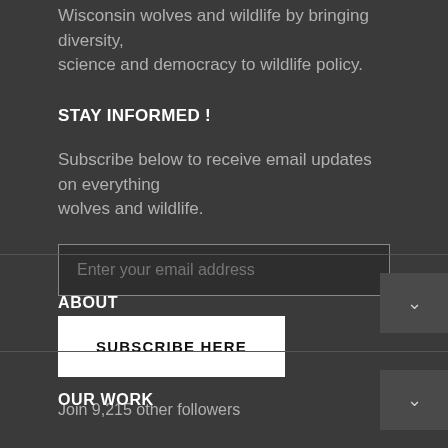Wisconsin wolves and wildlife by bringing diversity, science and democracy to wildlife policy.
STAY INFORMED !
Subscribe below to receive email updates on everything wolves and wildlife.
Enter your email address
SUBSCRIBE HERE
Join 9,215 other followers
ABOUT
OUR WORK